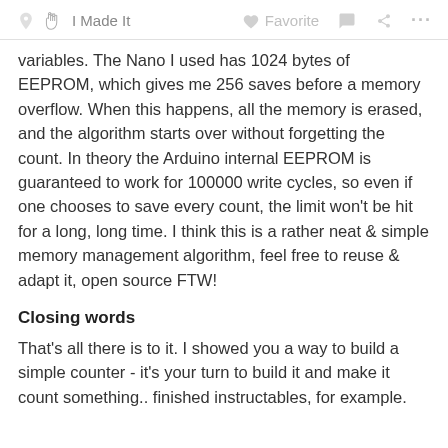I Made It   Favorite   ···
variables. The Nano I used has 1024 bytes of EEPROM, which gives me 256 saves before a memory overflow. When this happens, all the memory is erased, and the algorithm starts over without forgetting the count. In theory the Arduino internal EEPROM is guaranteed to work for 100000 write cycles, so even if one chooses to save every count, the limit won't be hit for a long, long time. I think this is a rather neat & simple memory management algorithm, feel free to reuse & adapt it, open source FTW!
Closing words
That's all there is to it. I showed you a way to build a simple counter - it's your turn to build it and make it count something.. finished instructables, for example.